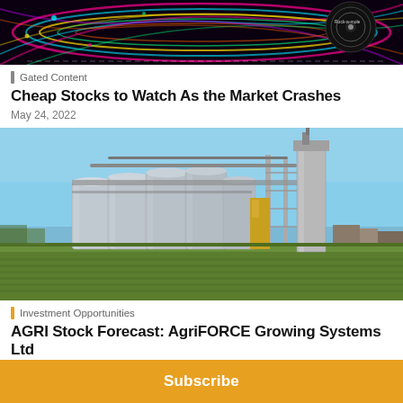[Figure (photo): Colorful neon swirling lines on dark background with 'Rock-a-mole' text visible]
Gated Content
Cheap Stocks to Watch As the Market Crashes
May 24, 2022
[Figure (photo): Grain storage silos and industrial agricultural facility with green field in foreground and blue sky]
Investment Opportunities
AGRI Stock Forecast: AgriFORCE Growing Systems Ltd
Subscribe